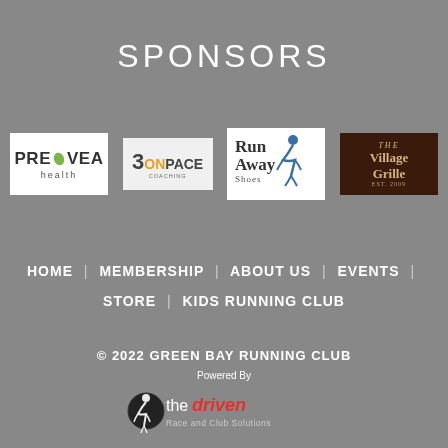SPONSORS
[Figure (logo): Prevea Health sponsor logo - white background with PREVEA text and green leaf, health written below]
[Figure (logo): 3 OnPace Coaching sponsor logo - grey background with 3 and ONPACE text, orange ON highlight]
[Figure (logo): Run Away Shoes sponsor logo - white background with runner figure and text]
[Figure (logo): The Village Grille sponsor logo - dark brown background with gold serif text]
HOME | MEMBERSHIP | ABOUT US | EVENTS | STORE | KIDS RUNNING CLUB
© 2022 GREEN BAY RUNNING CLUB
Powered By
[Figure (logo): The Driven Race and Club Solutions logo]